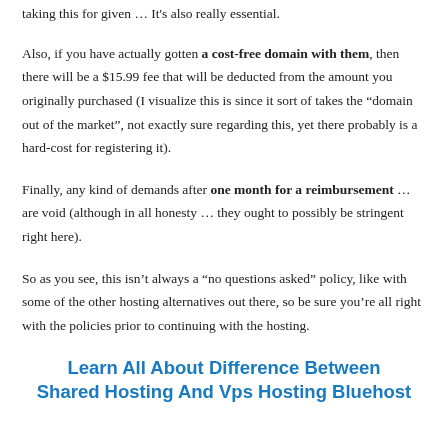taking this for given … It's also really essential.
Also, if you have actually gotten a cost-free domain with them, then there will be a $15.99 fee that will be deducted from the amount you originally purchased (I visualize this is since it sort of takes the “domain out of the market”, not exactly sure regarding this, yet there probably is a hard-cost for registering it).
Finally, any kind of demands after one month for a reimbursement … are void (although in all honesty … they ought to possibly be stringent right here).
So as you see, this isn’t always a “no questions asked” policy, like with some of the other hosting alternatives out there, so be sure you’re all right with the policies prior to continuing with the hosting.
Learn All About Difference Between Shared Hosting And Vps Hosting Bluehost